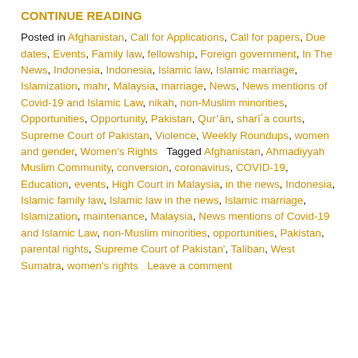CONTINUE READING
Posted in Afghanistan, Call for Applications, Call for papers, Due dates, Events, Family law, fellowship, Foreign government, In The News, Indonesia, Indonesia, Islamic law, Islamic marriage, Islamization, mahr, Malaysia, marriage, News, News mentions of Covid-19 and Islamic Law, nikah, non-Muslim minorities, Opportunities, Opportunity, Pakistan, Qur'ān, sharīʿa courts, Supreme Court of Pakistan, Violence, Weekly Roundups, women and gender, Women's Rights Tagged Afghanistan, Ahmadiyyah Muslim Community, conversion, coronavirus, COVID-19, Education, events, High Court in Malaysia, in the news, Indonesia, Islamic family law, Islamic law in the news, Islamic marriage, Islamization, maintenance, Malaysia, News mentions of Covid-19 and Islamic Law, non-Muslim minorities, opportunities, Pakistan, parental rights, Supreme Court of Pakistan', Taliban, West Sumatra, women's rights Leave a comment